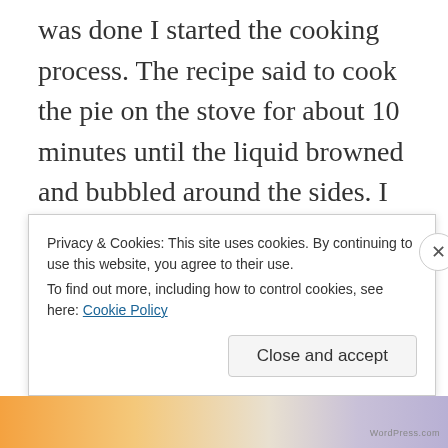was done I started the cooking process.  The recipe said to cook the pie on the stove for about 10 minutes until the liquid browned and bubbled around the sides.  I waited and waited, watched it steam and bubble, then waited and waited.  10 minutes passed but the liquid that bubbled still didn't look brown.  15 minutes passed, 20 minutes passed.  My Aunt and Uncle kept coming by in turns, lowering the heat of the stove and then I would raise it again.
Privacy & Cookies: This site uses cookies. By continuing to use this website, you agree to their use.
To find out more, including how to control cookies, see here: Cookie Policy